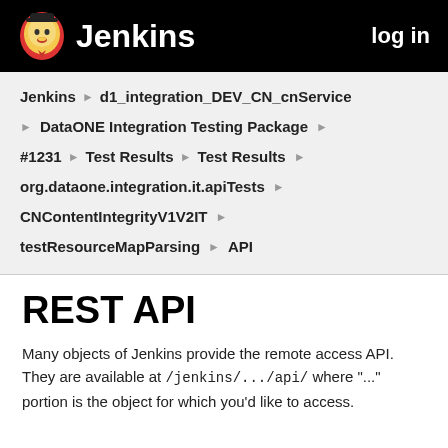Jenkins  log in
Jenkins ▶ d1_integration_DEV_CN_cnService
▶ DataONE Integration Testing Package ▶
#1231 ▶ Test Results ▶ Test Results ▶
org.dataone.integration.it.apiTests ▶
CNContentIntegrityV1V2IT ▶
testResourceMapParsing ▶ API
REST API
Many objects of Jenkins provide the remote access API. They are available at /jenkins/.../api/ where "..." portion is the object for which you'd like to access.